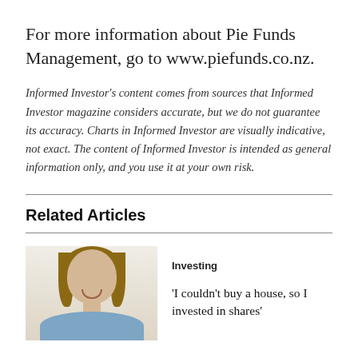For more information about Pie Funds Management, go to www.piefunds.co.nz.
Informed Investor’s content comes from sources that Informed Investor magazine considers accurate, but we do not guarantee its accuracy. Charts in Informed Investor are visually indicative, not exact. The content of Informed Investor is intended as general information only, and you use it at your own risk.
Related Articles
[Figure (photo): Portrait photo of a young woman with long brown hair, smiling, wearing a blue shirt, against a light background.]
Investing
‘I couldn’t buy a house, so I invested in shares’